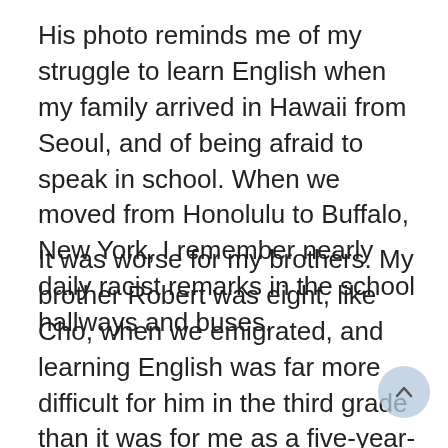His photo reminds me of my struggle to learn English when my family arrived in Hawaii from Seoul, and of being afraid to speak in school. When we moved from Honolulu to Buffalo, New York, I remember nearly daily racist remarks in the school hallways and buses.
It was worse for my brothers. My brother Robert was eight, like Cho, when we emigrated, and learning English was far more difficult for him in the third grade than it was for me as a five-year-old. Rather than subject my brother John to first grade in a new language, my parents placed him in kindergarten with me. As they grew up, my brothers warded off bullying by playing sports, lifting weights, partying, and